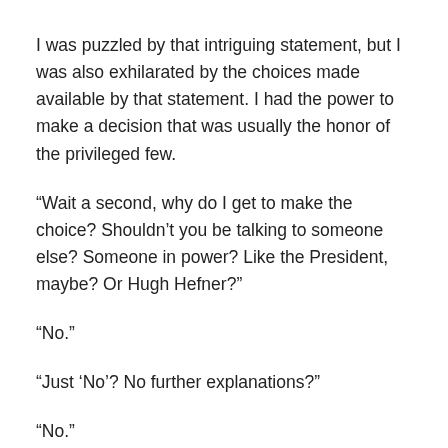I was puzzled by that intriguing statement, but I was also exhilarated by the choices made available by that statement. I had the power to make a decision that was usually the honor of the privileged few.
“Wait a second, why do I get to make the choice? Shouldn’t you be talking to someone else? Someone in power? Like the President, maybe? Or Hugh Hefner?”
“No.”
“Just ‘No’? No further explanations?”
“No.”
So that meant I also had to be responsible with my choices. Damn!